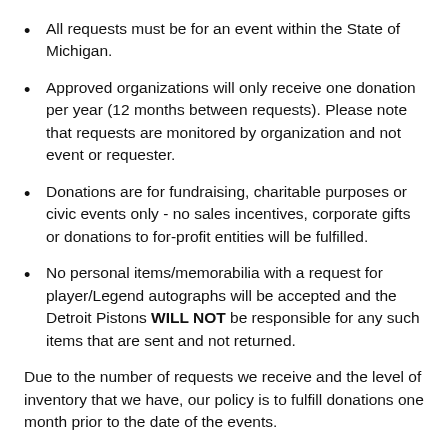All requests must be for an event within the State of Michigan.
Approved organizations will only receive one donation per year (12 months between requests). Please note that requests are monitored by organization and not event or requester.
Donations are for fundraising, charitable purposes or civic events only - no sales incentives, corporate gifts or donations to for-profit entities will be fulfilled.
No personal items/memorabilia with a request for player/Legend autographs will be accepted and the Detroit Pistons WILL NOT be responsible for any such items that are sent and not returned.
Due to the number of requests we receive and the level of inventory that we have, our policy is to fulfill donations one month prior to the date of the events.